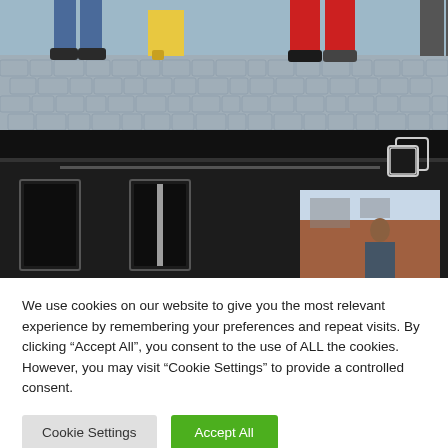[Figure (photo): Top portion of a photo showing people standing on cobblestone street, only legs and feet visible with colorful clothing]
[Figure (photo): Dark interior scene, possibly a train or bus interior, with a smaller inset photo showing a person outdoors near brick buildings. A copy/duplicate icon is visible in the top right corner.]
We use cookies on our website to give you the most relevant experience by remembering your preferences and repeat visits. By clicking “Accept All”, you consent to the use of ALL the cookies. However, you may visit "Cookie Settings" to provide a controlled consent.
Cookie Settings
Accept All